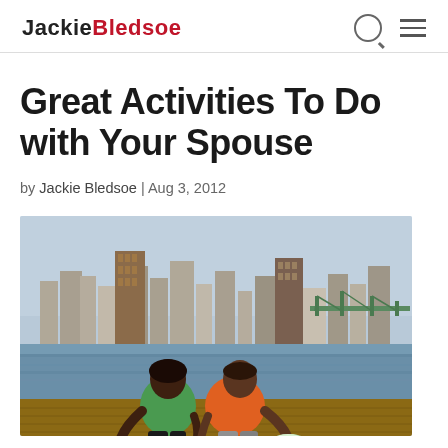JackieBledsoe
Great Activities To Do with Your Spouse
by Jackie Bledsoe | Aug 3, 2012
[Figure (photo): A couple sitting back-to-back on a wooden dock in athletic wear, with a city skyline and bridge visible across a river in the background.]